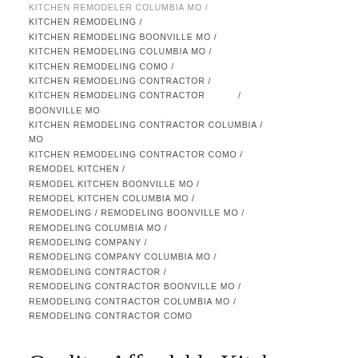KITCHEN REMODELER COLUMBIA MO /
KITCHEN REMODELING /
KITCHEN REMODELING BOONVILLE MO /
KITCHEN REMODELING COLUMBIA MO /
KITCHEN REMODELING COMO /
KITCHEN REMODELING CONTRACTOR /
KITCHEN REMODELING CONTRACTOR / BOONVILLE MO
KITCHEN REMODELING CONTRACTOR COLUMBIA / MO
KITCHEN REMODELING CONTRACTOR COMO /
REMODEL KITCHEN /
REMODEL KITCHEN BOONVILLE MO /
REMODEL KITCHEN COLUMBIA MO /
REMODELING / REMODELING BOONVILLE MO /
REMODELING COLUMBIA MO /
REMODELING COMPANY /
REMODELING COMPANY COLUMBIA MO /
REMODELING CONTRACTOR /
REMODELING CONTRACTOR BOONVILLE MO /
REMODELING CONTRACTOR COLUMBIA MO /
REMODELING CONTRACTOR COMO
Quality, Affordable Kitchen Remodeling In Columbia MO